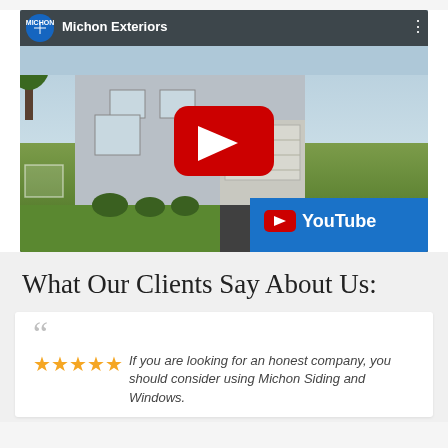[Figure (screenshot): YouTube video thumbnail for 'Michon Exteriors' showing a house with siding, a YouTube play button overlay, and the Michon logo in the bottom right corner with a YouTube branding overlay]
What Our Clients Say About Us:
If you are looking for an honest company, you should consider using Michon Siding and Windows.